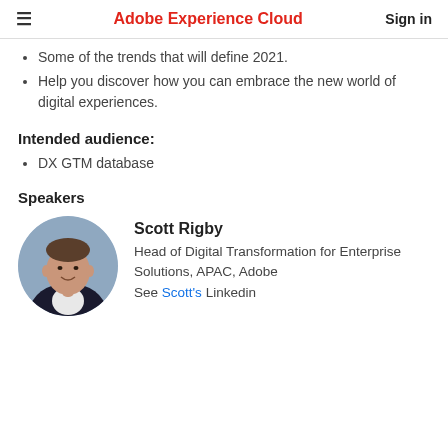Adobe Experience Cloud | Sign in
Some of the trends that will define 2021.
Help you discover how you can embrace the new world of digital experiences.
Intended audience:
DX GTM database
Speakers
[Figure (photo): Headshot of Scott Rigby, a man in a suit, circular crop]
Scott Rigby
Head of Digital Transformation for Enterprise Solutions, APAC, Adobe
See Scott's Linkedin